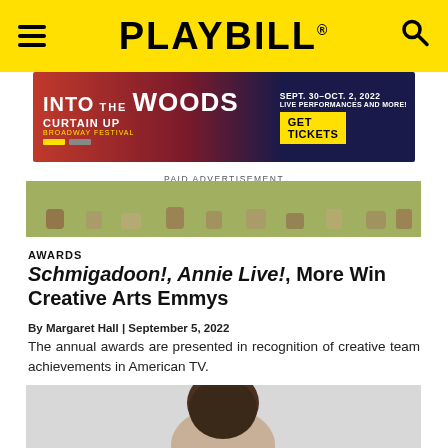PLAYBILL
[Figure (screenshot): Advertisement banner for 'Into the Woods' Curtain Up Broadway Festival, Sept. 30–Oct. 2, 2022, Live Performances and More. GET TICKETS button visible.]
PAID ADVERTISEMENT
[Figure (photo): Cropped photo showing lower portion of people sitting/lying on grass, wearing period/casual clothing.]
AWARDS
Schmigadoon!, Annie Live!, More Win Creative Arts Emmys
By Margaret Hall | September 5, 2022
The annual awards are presented in recognition of creative team achievements in American TV.
[Figure (photo): Partial photo of a person with dark hair against a light background, cropped at bottom of page.]